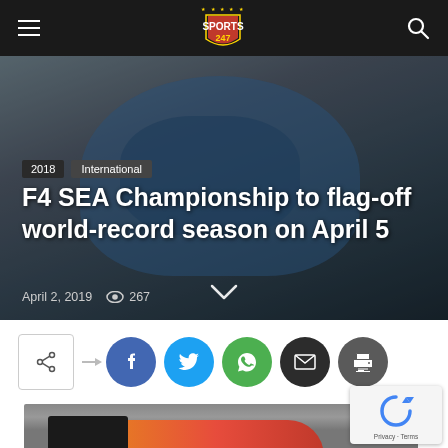Sports 247 — Navigation bar with logo
[Figure (photo): Hero image of a Formula 4 racing car cockpit view with driver, dark blue car, with overlaid text]
2018   International
F4 SEA Championship to flag-off world-record season on April 5
April 2, 2019   267
[Figure (infographic): Social share buttons row: share icon box, Facebook, Twitter, WhatsApp, Email, Print]
[Figure (photo): Bottom partial photo of a Formula 4 racing car on track, orange/red car with helmeted driver visible]
Privacy · Terms